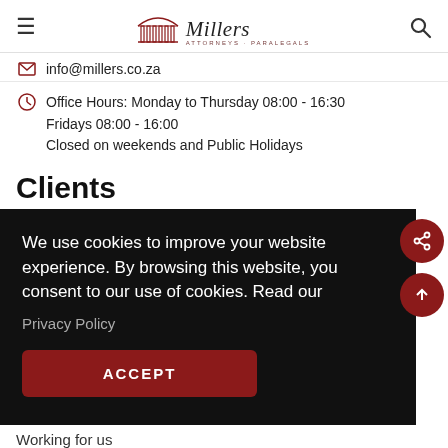Millers Attorneys · Paralegals — navigation bar with hamburger menu and search icon
info@millers.co.za
Office Hours: Monday to Thursday 08:00 - 16:30
Fridays 08:00 - 16:00
Closed on weekends and Public Holidays
Clients
We use cookies to improve your website experience. By browsing this website, you consent to our use of cookies. Read our Privacy Policy
ACCEPT
Working for us